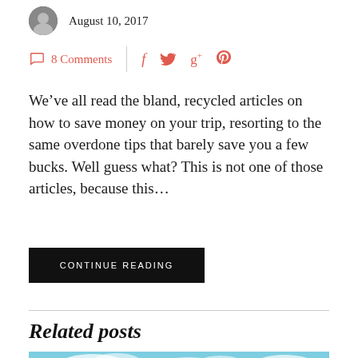August 10, 2017
8 Comments
We’ve all read the bland, recycled articles on how to save money on your trip, resorting to the same overdone tips that barely save you a few bucks. Well guess what? This is not one of those articles, because this…
CONTINUE READING
Related posts
[Figure (photo): Tropical beach scene with turquoise water, sandy beach, and mountains/islands in the background under a partly cloudy sky.]